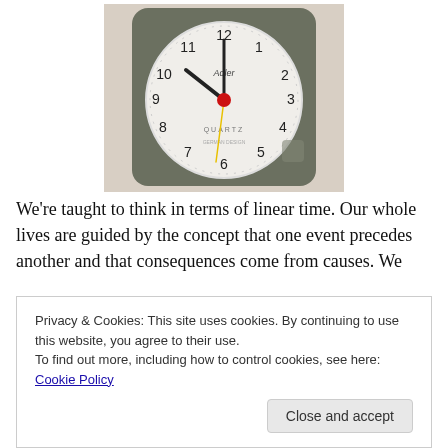[Figure (photo): A small Adler brand quartz alarm clock with a round white face showing numerals 1-12, black hour and minute hands, a red center knob, and a yellow second hand. The clock has a dark gray/olive square body and sits on a light surface.]
We're taught to think in terms of linear time. Our whole lives are guided by the concept that one event precedes another and that consequences come from causes. We
Privacy & Cookies: This site uses cookies. By continuing to use this website, you agree to their use.
To find out more, including how to control cookies, see here: Cookie Policy
Close and accept
which open us to wonder. Why is it I can lose time in a